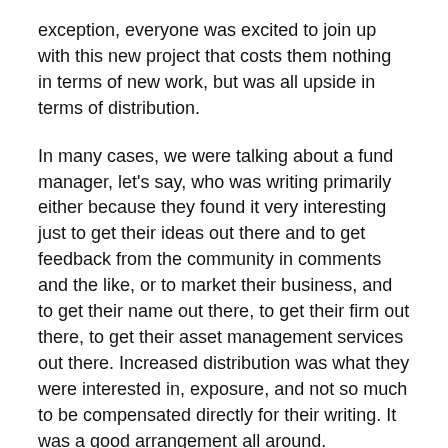exception, everyone was excited to join up with this new project that costs them nothing in terms of new work, but was all upside in terms of distribution.
In many cases, we were talking about a fund manager, let's say, who was writing primarily either because they found it very interesting just to get their ideas out there and to get feedback from the community in comments and the like, or to market their business, and to get their name out there, to get their firm out there, to get their asset management services out there. Increased distribution was what they were interested in, exposure, and not so much to be compensated directly for their writing. It was a good arrangement all around.
You had hired and managed an internal, human